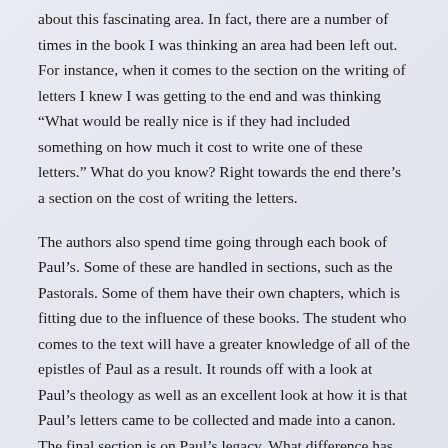about this fascinating area. In fact, there are a number of times in the book I was thinking an area had been left out. For instance, when it comes to the section on the writing of letters I knew I was getting to the end and was thinking “What would be really nice is if they had included something on how much it cost to write one of these letters.” What do you know? Right towards the end there’s a section on the cost of writing the letters.
The authors also spend time going through each book of Paul’s. Some of these are handled in sections, such as the Pastorals. Some of them have their own chapters, which is fitting due to the influence of these books. The student who comes to the text will have a greater knowledge of all of the epistles of Paul as a result. It rounds off with a look at Paul’s theology as well as an excellent look at how it is that Paul’s letters came to be collected and made into a canon. The final section is on Paul’s legacy. What difference has Paul made? How has he been seen in history? What has been the outcome of